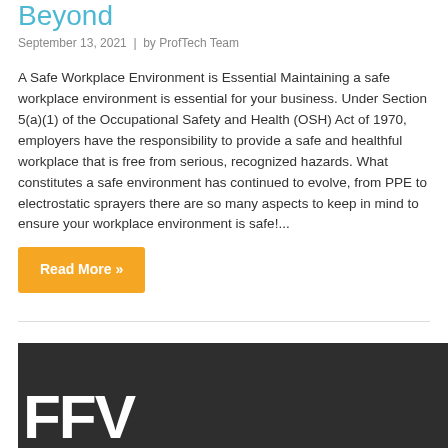Beyond
September 13, 2021  |  by ProfTech Team
A Safe Workplace Environment is Essential Maintaining a safe workplace environment is essential for your business. Under Section 5(a)(1) of the Occupational Safety and Health (OSH) Act of 1970, employers have the responsibility to provide a safe and healthful workplace that is free from serious, recognized hazards. What constitutes a safe environment has continued to evolve, from PPE to electrostatic sprayers there are so many aspects to keep in mind to ensure your workplace environment is safe!...
Read More »
[Figure (photo): Dark background image with large white bold letters partially visible at the bottom, appearing to show a logo or heading text.]